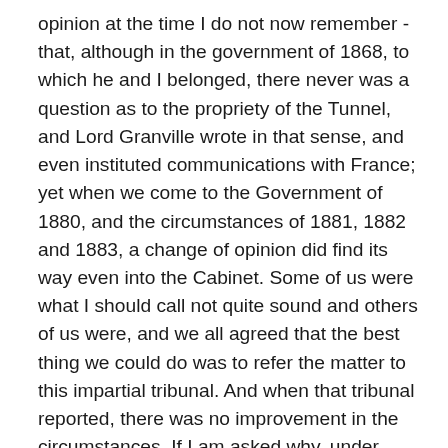opinion at the time I do not now remember - that, although in the government of 1868, to which he and I belonged, there never was a question as to the propriety of the Tunnel, and Lord Granville wrote in that sense, and even instituted communications with France; yet when we come to the Government of 1880, and the circumstances of 1881, 1882 and 1883, a change of opinion did find its way even into the Cabinet. Some of us were what I should call not quite sound and others of us were, and we all agreed that the best thing we could do was to refer the matter to this impartial tribunal. And when that tribunal reported, there was no improvement in the circumstances. If I am asked why, under these circumstances, I took part in throwing out the Channel Tunnel Bill, my answer is that we, the Government, were engaged in arduous affairs. Powers were put very freely into action against us at that time which are now happily in abeyance. We deemed that